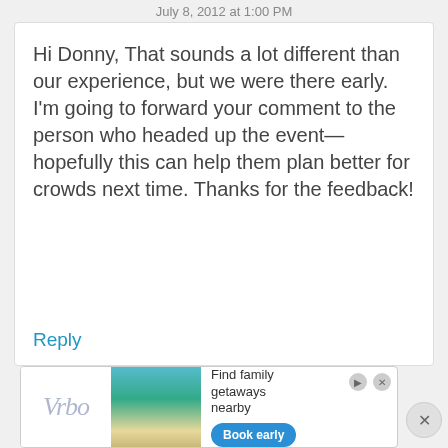July 8, 2012 at 1:00 PM
Hi Donny, That sounds a lot different than our experience, but we were there early. I'm going to forward your comment to the person who headed up the event—hopefully this can help them plan better for crowds next time. Thanks for the feedback!
Reply
[Figure (infographic): Vrbo advertisement banner showing a beach vacation house with text 'Find family getaways nearby' and a 'Book early' button]